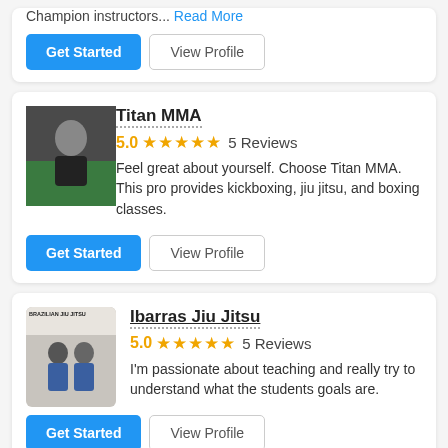Champion instructors... Read More
Get Started
View Profile
Titan MMA
5.0 ★★★★★ 5 Reviews
Feel great about yourself. Choose Titan MMA. This pro provides kickboxing, jiu jitsu, and boxing classes.
Get Started
View Profile
Ibarras Jiu Jitsu
5.0 ★★★★★ 5 Reviews
I'm passionate about teaching and really try to understand what the students goals are.
Get Started
View Profile